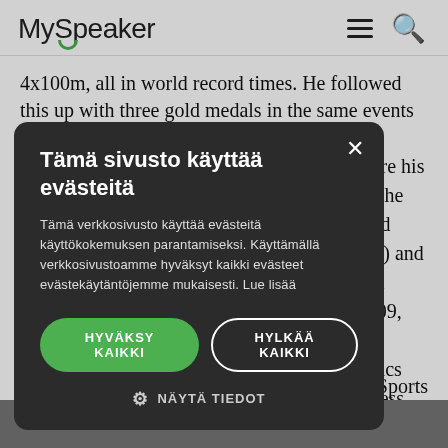MySpeaker
4x100m, all in world record times. He followed this up with three gold medals in the same events at the 2012 … y before his … ple at the … e world … 9.19 secs) and … voted … r times (2009, … r awards … rom athletics … his business … dation.
[Figure (screenshot): Cookie consent modal overlay with dark background. Title: 'Tämä sivusto käyttää evästeitä'. Body text in Finnish about cookie usage. Two buttons: 'HYVÄKSY KAIKKI' (green) and 'HYLkÄÄ KAIKKI' (outlined). Settings link 'NÄYTÄ TIEDOT' at bottom.]
T… | Sports